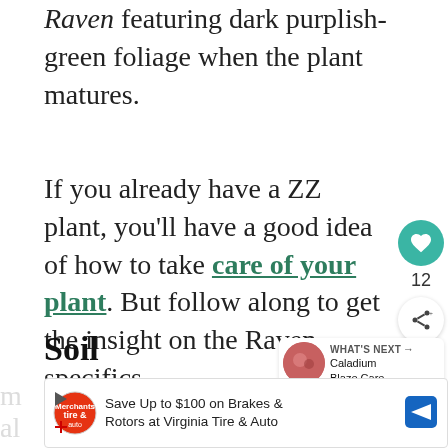Raven featuring dark purplish-green foliage when the plant matures.
If you already have a ZZ plant, you'll have a good idea of how to take care of your plant. But follow along to get the insight on the Raven specifics.
Soil
ZZ plants don't need any special potting